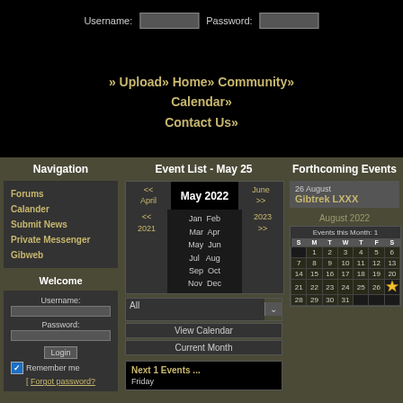Username: [input] Password: [input]
» Upload» Home» Community» Calendar» Contact Us»
Navigation
Forums
Calander
Submit News
Private Messenger
Gibweb
Welcome
Username: [input] Password: [input] Login Remember me [ Forgot password?
Event List - May 25
| << April | May 2022 | June >> |
| << 2021 | Jan Feb Mar Apr May Jun Jul Aug Sep Oct Nov Dec | 2023 >> |
All [dropdown] View Calendar Current Month
Next 1 Events ... Friday
Forthcoming Events
26 August
Gibtrek LXXX
August 2022
| S | M | T | W | T | F | S |
| --- | --- | --- | --- | --- | --- | --- |
|  | 1 | 2 | 3 | 4 | 5 | 6 |
| 7 | 8 | 9 | 10 | 11 | 12 | 13 |
| 14 | 15 | 16 | 17 | 18 | 19 | 20 |
| 21 | 22 | 23 | 24 | 25 | 26 | ★ |
| 28 | 29 | 30 | 31 |  |  |  |